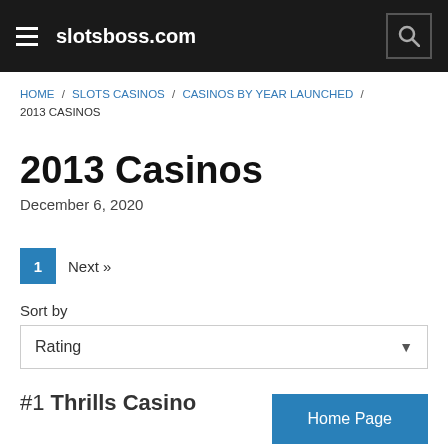slotsboss.com
HOME / SLOTS CASINOS / CASINOS BY YEAR LAUNCHED / 2013 CASINOS
2013 Casinos
December 6, 2020
1  Next »
Sort by
Rating
#1 Thrills Casino
Home Page